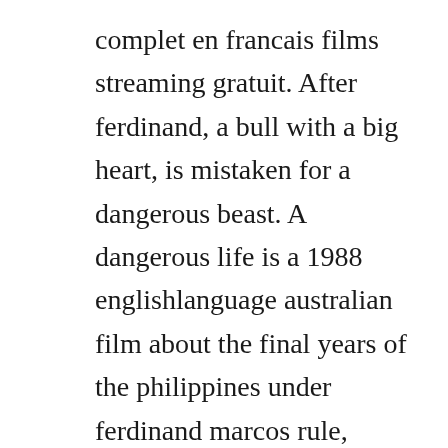complet en francais films streaming gratuit. After ferdinand, a bull with a big heart, is mistaken for a dangerous beast. A dangerous life is a 1988 englishlanguage australian film about the final years of the philippines under ferdinand marcos rule, from the assassination of benigno aquino, jr. The lifeguard streaming en francais, film streaming complet vf en francais avec soustitres anglais et francais, the lifeguard regardez tout le film sans limitation, diffusez en streaming en qualite. Kill speed action film complet en francais hd 1080. With janet montgomery, billy campbell, elodie